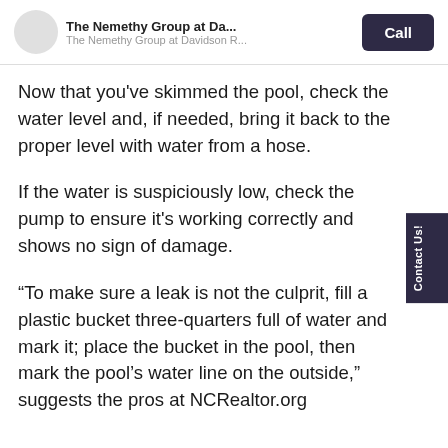The Nemethy Group at Da... | The Nemethy Group at Davidson R... | Call
Now that you've skimmed the pool, check the water level and, if needed, bring it back to the proper level with water from a hose.
If the water is suspiciously low, check the pump to ensure it's working correctly and shows no sign of damage.
“To make sure a leak is not the culprit, fill a plastic bucket three-quarters full of water and mark it; place the bucket in the pool, then mark the pool’s water line on the outside,” suggests the pros at NCRealtor.org